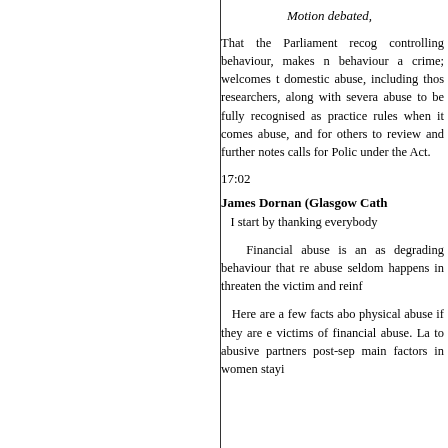Motion debated,
That the Parliament recognises controlling behaviour, makes n behaviour a crime; welcomes t domestic abuse, including thos researchers, along with severa abuse to be fully recognised as practice rules when it comes abuse, and for others to review and further notes calls for Polic under the Act.
17:02
James Dornan (Glasgow Cath: I start by thanking everybody
Financial abuse is an as degrading behaviour that r abuse seldom happens in threaten the victim and reinf
Here are a few facts abo physical abuse if they are e victims of financial abuse. La to abusive partners post-sep main factors in women stayi